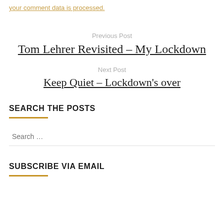your comment data is processed.
Previous Post
Tom Lehrer Revisited – My Lockdown
Next Post
Keep Quiet – Lockdown's over
SEARCH THE POSTS
Search …
SUBSCRIBE VIA EMAIL